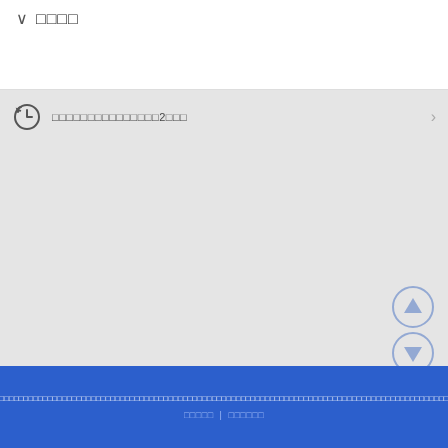∨ □□□□
□□□□□□□□□□□□□□□2□□□
[Figure (screenshot): Gray content area with up and down navigation arrow buttons on the right side, and a dark bar near the bottom]
□□□□□□□□□□□□□□□□□□□□□□□□□□□□□□□□□□□□□□□□□□□□□□□□□□□□□□□□□□□□□□□□□  □□□□□ | □□□□□□